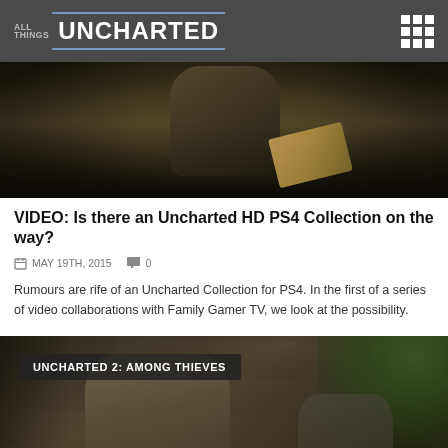ALL THINGS UNCHARTED
[Figure (screenshot): Dark screenshot from Uncharted game showing a character holding a map/envelope in dim lighting]
VIDEO: Is there an Uncharted HD PS4 Collection on the way?
MAY 19TH, 2015   0
Rumours are rife of an Uncharted Collection for PS4. In the first of a series of video collaborations with Family Gamer TV, we look at the possibility.
[Figure (screenshot): Game screenshot labeled UNCHARTED 2: AMONG THIEVES showing two characters in a ruined building environment with greenery in background]